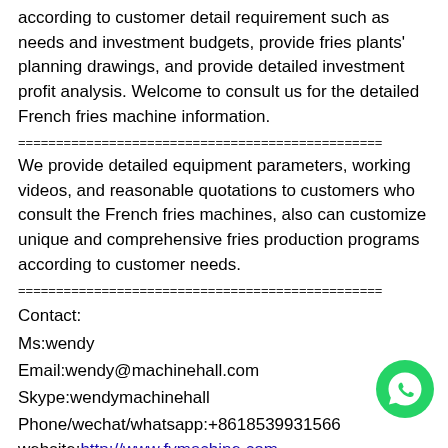according to customer detail requirement such as needs and investment budgets, provide fries plants' planning drawings, and provide detailed investment profit analysis. Welcome to consult us for the detailed French fries machine information.
================================================
We provide detailed equipment parameters, working videos, and reasonable quotations to customers who consult the French fries machines, also can customize unique and comprehensive fries production programs according to customer needs.
================================================
Contact:
Ms:wendy
Email:wendy@machinehall.com
Skype:wendymachinehall
Phone/wechat/whatsapp:+8618539931566
website:http://www.fymachine.com